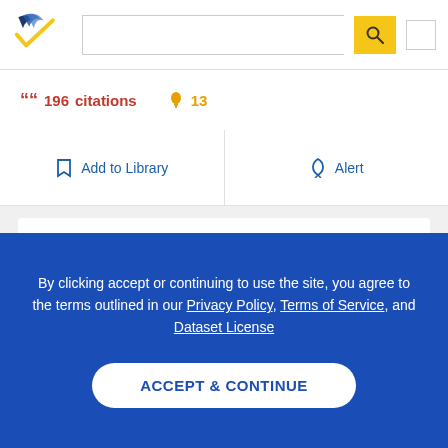Semantic Scholar navigation bar with logo, search input, and menu button
196 citations  13
Add to Library  Alert
Interannual and decadal variability of the western Pacific sea surface condition for the years 1787–2000: Reconstruction based on stable isotope record from a Guam coral
By clicking accept or continuing to use the site, you agree to the terms outlined in our Privacy Policy, Terms of Service, and Dataset License
ACCEPT & CONTINUE